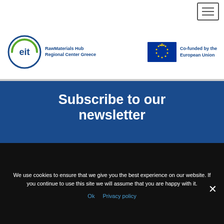[Figure (logo): Navigation hamburger menu icon top right]
[Figure (logo): EIT RawMaterials Hub Regional Center Greece logo and EU Co-funded logo]
Subscribe to our newsletter
FILL THE FORM
We use cookies to ensure that we give you the best experience on our website. If you continue to use this site we will assume that you are happy with it.
Ok  Privacy policy